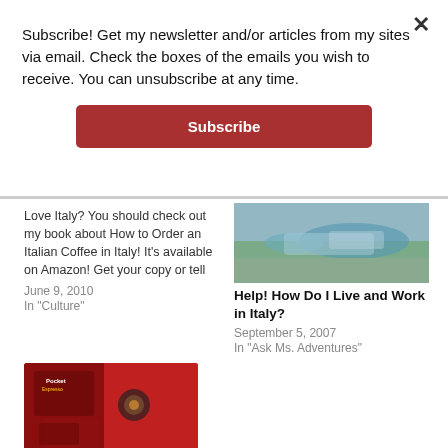Subscribe! Get my newsletter and/or articles from my sites via email. Check the boxes of the emails you wish to receive. You can unsubscribe at any time.
Subscribe
Love Italy? You should check out my book about How to Order an Italian Coffee in Italy!  It's available on Amazon! Get your copy or tell
June 9, 2010
In "Culture"
[Figure (photo): Photo of boat on water, blue and teal tones]
Help! How Do I Live and Work in Italy?
September 5, 2007
In "Ask Ms. Adventures"
[Figure (photo): Photo of Ferroro Pocket espresso product packaging in red and black]
Introducing Ferroro Pocket